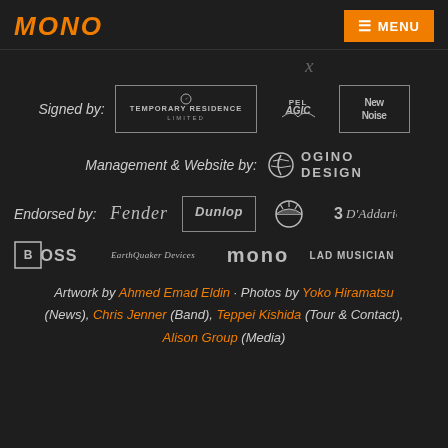MONO | MENU
Signed by: Temporary Residence Limited · Pelagic · New Noise
Management & Website by: Ogino Design
Endorsed by: Fender · Dunlop · MINI · D'Addario · BOSS · EarthQuaker Devices · MONO · LAD MUSICIAN
Artwork by Ahmed Emad Eldin · Photos by Yoko Hiramatsu (News), Chris Jenner (Band), Teppei Kishida (Tour & Contact), Alison Group (Media)